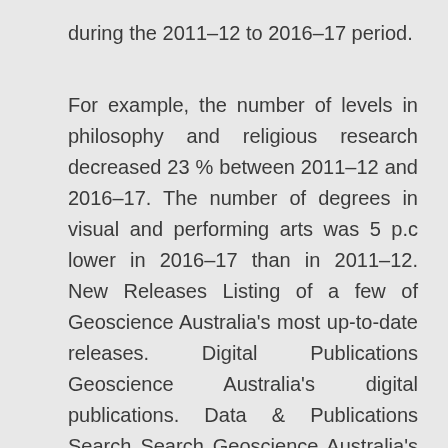during the 2011–12 to 2016–17 period.
For example, the number of levels in philosophy and religious research decreased 23 % between 2011–12 and 2016–17. The number of degrees in visual and performing arts was 5 p.c lower in 2016–17 than in 2011–12. New Releases Listing of a few of Geoscience Australia's most up-to-date releases. Digital Publications Geoscience Australia's digital publications. Data & Publications Search Search Geoscience Australia's extensive catalogue of data, publications, on-line tools, maps and videos.